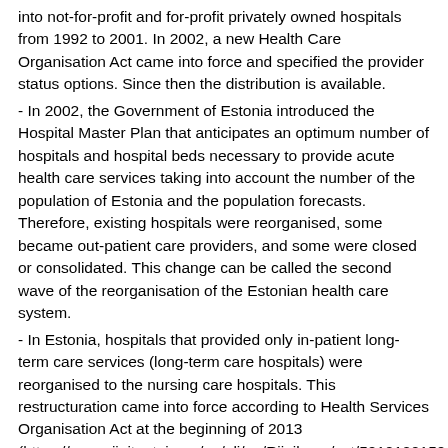into not-for-profit and for-profit privately owned hospitals from 1992 to 2001. In 2002, a new Health Care Organisation Act came into force and specified the provider status options. Since then the distribution is available.
- In 2002, the Government of Estonia introduced the Hospital Master Plan that anticipates an optimum number of hospitals and hospital beds necessary to provide acute health care services taking into account the number of the population of Estonia and the population forecasts. Therefore, existing hospitals were reorganised, some became out-patient care providers, and some were closed or consolidated. This change can be called the second wave of the reorganisation of the Estonian health care system.
- In Estonia, hospitals that provided only in-patient long-term care services (long-term care hospitals) were reorganised to the nursing care hospitals. This restructuration came into force according to Health Services Organisation Act at the beginning of 2013 (https://www.riigiteataja.ee/en/eli/ee/Riigikogu/act/5210120150 Previous long-term care hospitals (HP.1) were classified amongst long-term nursing care facilities HP.2 according to the SHA2011 in 2013. Therefore, the total number of hospitals decreased in 2013 as well as all other statistics provided for in-patient care (beds, discharges by hospital beds). The remark